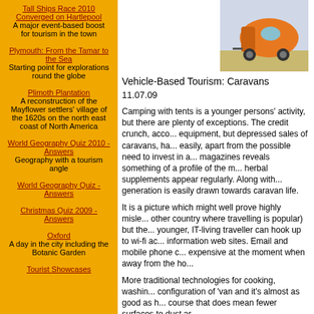Tall Ships Race 2010 Converged on Hartlepool
A major event-based boost for tourism in the town
Plymouth: From the Tamar to the Sea
Starting point for explorations round the globe
Plimoth Plantation
A reconstruction of the Mayflower settlers' village of the 1620s on the north east coast of North America
World Geography Quiz 2010 - Answers
Geography with a tourism angle
World Geography Quiz - Answers
Christmas Quiz 2009 - Answers
Oxford
A day in the city including the Botanic Garden
Tourist Showcases
[Figure (photo): Photo of an orange/yellow teardrop-shaped caravan trailer]
Images above right: Wikimedia
Vehicle-Based Tourism: Caravans
11.07.09
Camping with tents is a younger persons' activity, but there are plenty of exceptions. The credit crunch, according to equipment, but depressed sales of caravans, ha... easily, apart from the possible need to invest in a... magazines reveals something of a profile of the r... herbal supplements appear regularly. Along with... generation is easily drawn towards caravan life.
It is a picture which might well prove highly misle... other country where travelling is popular) but the... younger, IT-living traveller can hook up to wi-fi ac... information web sites. Email and mobile phone c... expensive at the moment when away from the ho...
More traditional technologies for cooking, washin... configuration of 'van and it's almost as good as h... course that does mean fewer surfaces to dust ar...
Possible the niftiest device for the gadget geek is... caravan through 90 degrees into a narrow parkin...